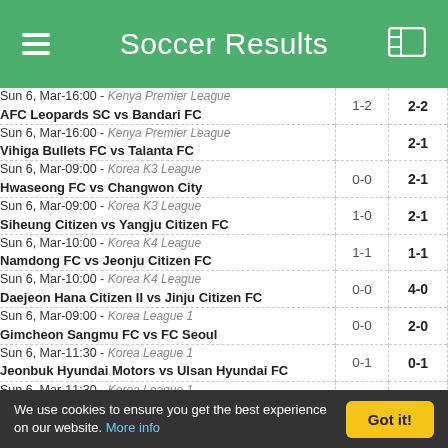Soccer Results
| Match | HT | FT |
| --- | --- | --- |
| Sun 6, Mar-16:00 - Kenya Premier League
AFC Leopards SC vs Bandari FC | 1-2 | 2-2 |
| Sun 6, Mar-16:00 - Kenya Premier League
Vihiga Bullets FC vs Talanta FC |  | 2-1 |
| Sun 6, Mar-09:00 - Korea K3 League
Hwaseong FC vs Changwon City | 0-0 | 2-1 |
| Sun 6, Mar-09:00 - Korea K3 League
Siheung Citizen vs Yangju Citizen FC | 1-0 | 2-1 |
| Sun 6, Mar-10:00 - Korea K4 League
Namdong FC vs Jeonju Citizen FC | 1-1 | 1-1 |
| Sun 6, Mar-10:00 - Korea K4 League
Daejeon Hana Citizen II vs Jinju Citizen FC | 0-0 | 4-0 |
| Sun 6, Mar-09:00 - Korea League 1
Gimcheon Sangmu FC vs FC Seoul | 0-0 | 2-0 |
| Sun 6, Mar-11:30 - Korea League 1
Jeonbuk Hyundai Motors vs Ulsan Hyundai FC | 0-1 | 0-1 |
| Sun 6, Mar-11:30 - Korea League 1
Jeju United FC vs Suwon FC | 0-0 | 0-0 |
| Sun 6, Mar-13:30 - Korea League 2 |  |  |
We use cookies to ensure you get the best experience on our website. More info